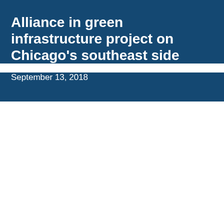Alliance in green infrastructure project on Chicago's southeast side
September 13, 2018